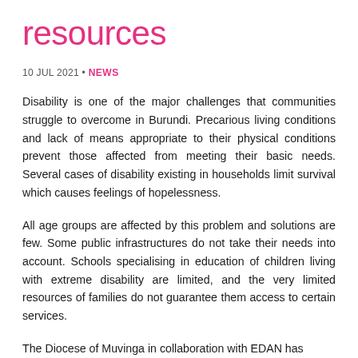resources
10 JUL 2021 • NEWS
Disability is one of the major challenges that communities struggle to overcome in Burundi. Precarious living conditions and lack of means appropriate to their physical conditions prevent those affected from meeting their basic needs. Several cases of disability existing in households limit survival which causes feelings of hopelessness.
All age groups are affected by this problem and solutions are few. Some public infrastructures do not take their needs into account. Schools specialising in education of children living with extreme disability are limited, and the very limited resources of families do not guarantee them access to certain services.
The Diocese of Muvinga in collaboration with EDAN has